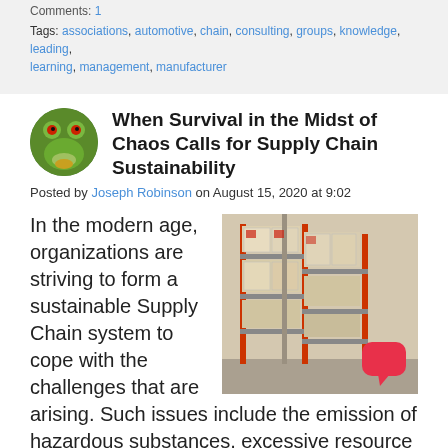Comments: 1
Tags: associations, automotive, chain, consulting, groups, knowledge, leading, learning, management, manufacturer
When Survival in the Midst of Chaos Calls for Supply Chain Sustainability
Posted by Joseph Robinson on August 15, 2020 at 9:02
In the modern age, organizations are striving to form a sustainable Supply Chain system to cope with the challenges that are arising. Such issues include the emission of hazardous substances, excessive resource
[Figure (photo): Warehouse shelving with stacked boxes and goods on metal racking with red uprights]